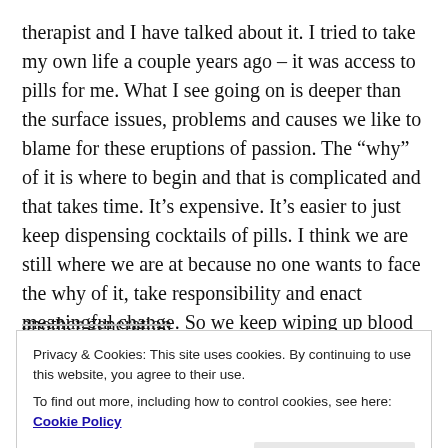therapist and I have talked about it. I tried to take my own life a couple years ago – it was access to pills for me. What I see going on is deeper than the surface issues, problems and causes we like to blame for these eruptions of passion. The “why” of it is where to begin and that is complicated and that takes time. It’s expensive. It’s easier to just keep dispensing cocktails of pills. I think we are still where we are at because no one wants to face the why of it, take responsibility and enact meaningful change. So we keep wiping up blood and handing down trauma with all its labels to yet another generation
Privacy & Cookies: This site uses cookies. By continuing to use this website, you agree to their use.
To find out more, including how to control cookies, see here: Cookie Policy
Close and accept
just like that they are finally “somebody.”